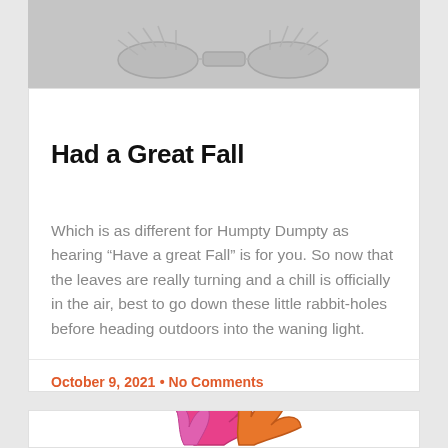[Figure (illustration): Top portion of a skeletal or line-drawing illustration on a gray background, partially cropped]
Had a Great Fall
Which is as different for Humpty Dumpty as hearing “Have a great Fall” is for you. So now that the leaves are really turning and a chill is officially in the air, best to go down these little rabbit-holes before heading outdoors into the waning light.
October 9, 2021  •  No Comments
[Figure (illustration): Colorful leaf illustrations (pink and orange maple leaves) partially visible at bottom of page]